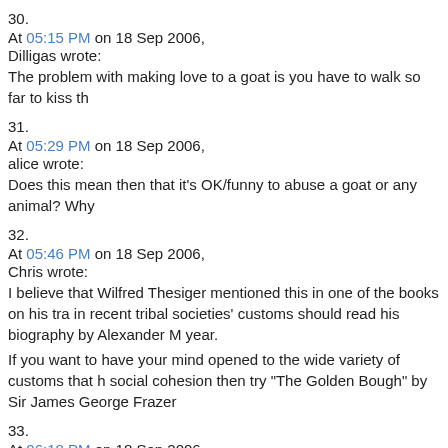30.
At 05:15 PM on 18 Sep 2006,
Dilligas wrote:
The problem with making love to a goat is you have to walk so far to kiss th
31.
At 05:29 PM on 18 Sep 2006,
alice wrote:
Does this mean then that it's OK/funny to abuse a goat or any animal? Why
32.
At 05:46 PM on 18 Sep 2006,
Chris wrote:
I believe that Wilfred Thesiger mentioned this in one of the books on his tra in recent tribal societies' customs should read his biography by Alexander M year.
If you want to have your mind opened to the wide variety of customs that h social cohesion then try "The Golden Bough" by Sir James George Frazer
33.
At 06:18 PM on 18 Sep 2006,
Charlene wrote:
Brian (Luxembourg) asked: